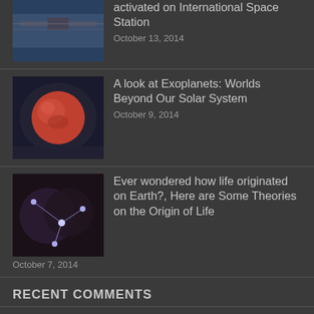activated on International Space Station
October 13, 2014
A look at Exoplanets: Worlds Beyond Our Solar System
October 9, 2014
Ever wondered how life originated on Earth?, Here are Some Theories on the Origin of Life
October 7, 2014
RECENT COMMENTS
Mr WordPress: Hi, this is a comment. To delete a comment, just log in and…
NONONO: 2replytesting…